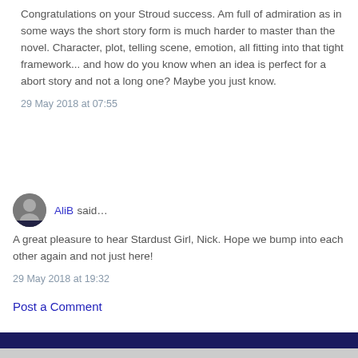Congratulations on your Stroud success. Am full of admiration as in some ways the short story form is much harder to master than the novel. Character, plot, telling scene, emotion, all fitting into that tight framework... and how do you know when an idea is perfect for a abort story and not a long one? Maybe you just know.
29 May 2018 at 07:55
AliB said...
A great pleasure to hear Stardust Girl, Nick. Hope we bump into each other again and not just here!
29 May 2018 at 19:32
Post a Comment